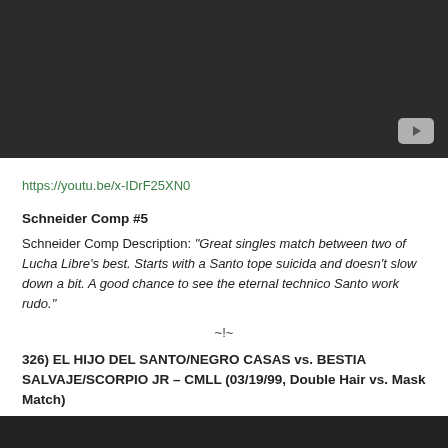[Figure (screenshot): Embedded YouTube video player with dark background and YouTube button in bottom-right corner]
https://youtu.be/x-IDrF25XN0
Schneider Comp #5
Schneider Comp Description: “Great singles match between two of Lucha Libre’s best. Starts with a Santo tope suicida and doesn’t slow down a bit. A good chance to see the eternal technico Santo work rudo.”
~!~
326) EL HIJO DEL SANTO/NEGRO CASAS vs. BESTIA SALVAJE/SCORPIO JR – CMLL (03/19/99, Double Hair vs. Mask Match)
[Figure (screenshot): Bottom edge of another embedded video player, dark background]